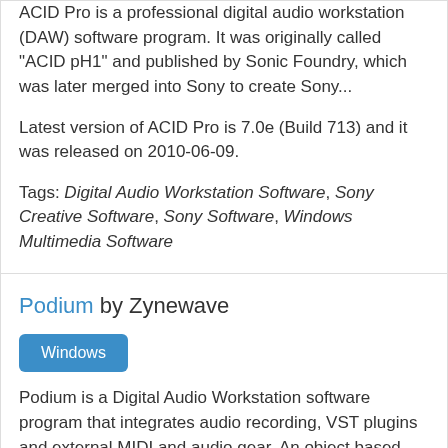ACID Pro is a professional digital audio workstation (DAW) software program. It was originally called "ACID pH1" and published by Sonic Foundry, which was later merged into Sony to create Sony...
Latest version of ACID Pro is 7.0e (Build 713) and it was released on 2010-06-09.
Tags: Digital Audio Workstation Software, Sony Creative Software, Sony Software, Windows Multimedia Software
Podium by Zynewave
Windows
Podium is a Digital Audio Workstation software program that integrates audio recording, VST plugins and external MIDI and audio gear. An object based project structure allows for advanced media and...